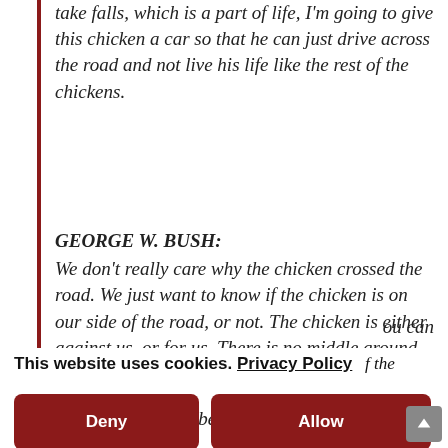take falls, which is a part of life, I'm going to give this chicken a car so that he can just drive across the road and not live his life like the rest of the chickens.
GEORGE W. BUSH: We don't really care why the chicken crossed the road. We just want to know if the chicken is on our side of the road, or not. The chicken is either against us, or for us. There is no middle ground here.
COLIN POWELL:
ou can
This website uses cookies. Privacy Policy    f the
Deny
Allow
We have reason to believe there is a